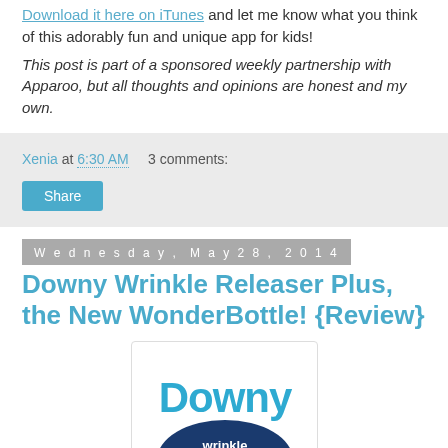Download it here on iTunes and let me know what you think of this adorably fun and unique app for kids!
This post is part of a sponsored weekly partnership with Apparoo, but all thoughts and opinions are honest and my own.
Xenia at 6:30 AM   3 comments:
Share
Wednesday, May 28, 2014
Downy Wrinkle Releaser Plus, the New WonderBottle! {Review}
[Figure (logo): Downy Wrinkle Releaser Plus product logo — blue text 'Downy' with 'wrinkle releaser Plus' on a dark blue oval badge with pink 'Plus' cursive script]